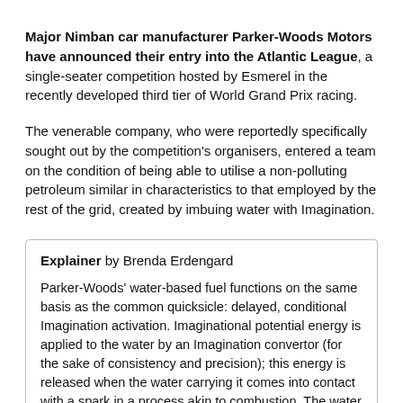Major Nimban car manufacturer Parker-Woods Motors have announced their entry into the Atlantic League, a single-seater competition hosted by Esmerel in the recently developed third tier of World Grand Prix racing.
The venerable company, who were reportedly specifically sought out by the competition's organisers, entered a team on the condition of being able to utilise a non-polluting petroleum similar in characteristics to that employed by the rest of the grid, created by imbuing water with Imagination.
Explainer by Brenda Erdengard

Parker-Woods' water-based fuel functions on the same basis as the common quicksicle: delayed, conditional Imagination activation. Imaginational potential energy is applied to the water by an Imagination convertor (for the sake of consistency and precision); this energy is released when the water carrying it comes into contact with a spark in a process akin to combustion. The water itself evaporates as a result of the heat produced